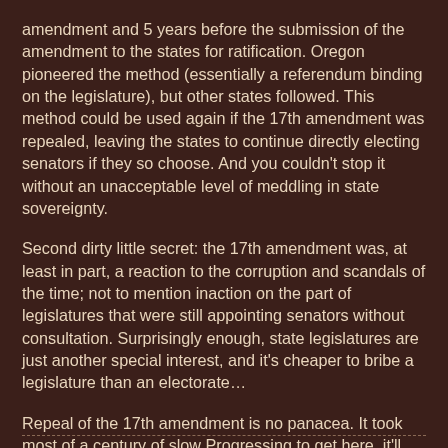amendment and 5 years before the submission of the amendment to the states for ratification. Oregon pioneered the method (essentially a referendum binding on the legislature), but other states followed. This method could be used again if the 17th amendment was repealed, leaving the states to continue directly electing senators if they so choose. And you couldn't stop it without an unacceptable level of meddling in state sovereignty.
Second dirty little secret: the 17th amendment was, at least in part, a reaction to the corruption and scandals of the time; not to mention inaction on the part of legislatures that were still appointing senators without consultation. Surprisingly enough, state legislatures are just another special interest, and it's cheaper to bribe a legislature than an electorate…
Repeal of the 17th amendment is no panacea. It took most of a century of slow Progressing to get here, it'll take time to get back. It's going to be hard and dirty work, full of compromise, half-measures, and politicians. Put together enough half-measures, though, and you can go places...
---